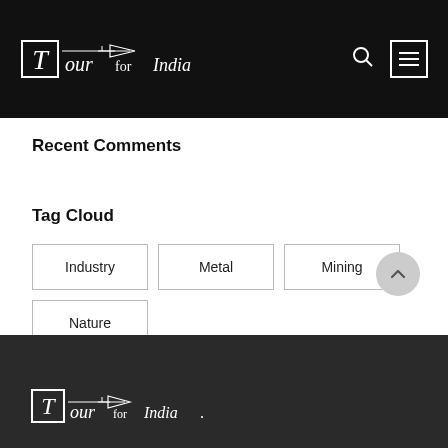Tour for India
Recent Comments
Tag Cloud
Industry
Metal
Mining
Nature
News
Oil
Polymer
Tour for India